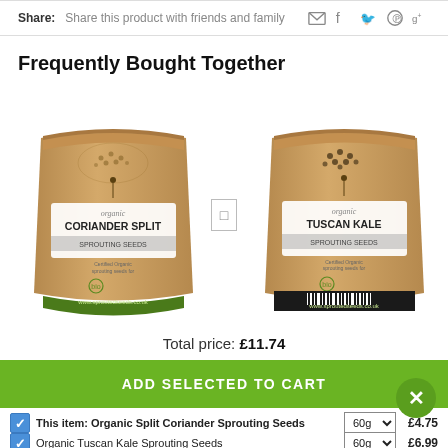Share: Share this product with friends and family
Frequently Bought Together
[Figure (photo): Two product bags side by side: left bag is organic Coriander Split Sprouting Seeds, right bag is organic Tuscan Kale Sprouting Seeds. Both are kraft paper resealable bags with green and white labels.]
Total price: £11.74
ADD SELECTED TO CART
This item: Organic Split Coriander Sprouting Seeds  60g  £4.75
Organic Tuscan Kale Sprouting Seeds  60g  £6.99